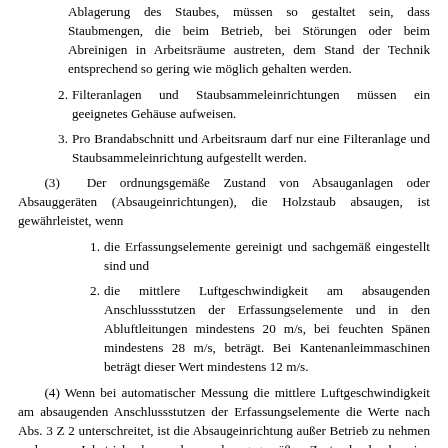Ablagerung des Staubes, müssen so gestaltet sein, dass Staubmengen, die beim Betrieb, bei Störungen oder beim Abreinigen in Arbeitsräume austreten, dem Stand der Technik entsprechend so gering wie möglich gehalten werden.
2. Filteranlagen und Staubsammeleinrichtungen müssen ein geeignetes Gehäuse aufweisen.
3. Pro Brandabschnitt und Arbeitsraum darf nur eine Filteranlage und Staubsammeleinrichtung aufgestellt werden.
(3) Der ordnungsgemäße Zustand von Absauganlagen oder Absauggeräten (Absaugeinrichtungen), die Holzstaub absaugen, ist gewährleistet, wenn
1. die Erfassungselemente gereinigt und sachgemäß eingestellt sind und
2. die mittlere Luftgeschwindigkeit am absaugenden Anschlussstutzen der Erfassungselemente und in den Abluftleitungen mindestens 20 m/s, bei feuchten Spänen mindestens 28 m/s, beträgt. Bei Kantenanleimmaschinen beträgt dieser Wert mindestens 12 m/s.
(4) Wenn bei automatischer Messung die mittlere Luftgeschwindigkeit am absaugenden Anschlussstutzen der Erfassungselemente die Werte nach Abs. 3 Z 2 unterschreitet, ist die Absaugeinrichtung außer Betrieb zu nehmen und vor Inbetriebnahme der ordnungsgemäße Zustand durch eine fachkundige Person oder erforderlichenfalls von einem hiezu befugten Fachunternehmen wieder herzustellen.
(5) Erfolgt keine automatische Messung der mittleren Luftgeschwindigkeit an einer für das Abluftleitungssystem der Absaugeinrichtung repräsentativen Stelle, so ist mindestens einmal wöchentlich der ordnungsgemäße Zustand durch Sichtprüfung von einer fachkundigen Person zu kontrollieren, insbesondere hinsichtlich der